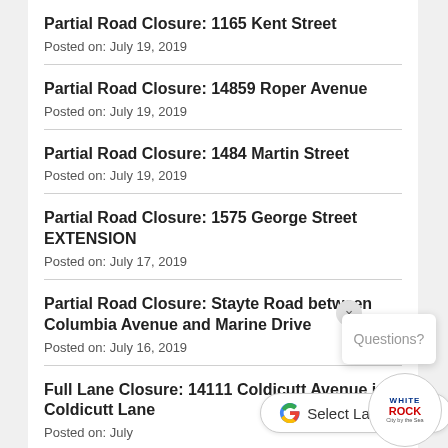Partial Road Closure: 1165 Kent Street
Posted on: July 19, 2019
Partial Road Closure: 14859 Roper Avenue
Posted on: July 19, 2019
Partial Road Closure: 1484 Martin Street
Posted on: July 19, 2019
Partial Road Closure: 1575 George Street EXTENSION
Posted on: July 17, 2019
Partial Road Closure: Stayte Road between Columbia Avenue and Marine Drive
Posted on: July 16, 2019
Full Lane Closure: 14111 Coldicutt Avenue in Coldicutt Lane
Posted on: July
[Figure (other): Close button (×) for popup overlay]
Questions?
[Figure (logo): White Rock City by the Sea logo]
[Figure (screenshot): Google Translate language selector bar]